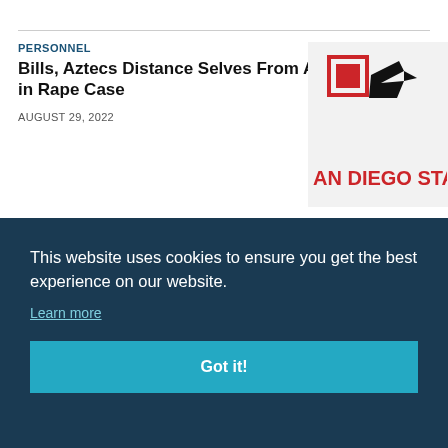PERSONNEL
Bills, Aztecs Distance Selves From Accused in Rape Case
AUGUST 29, 2022
[Figure (logo): San Diego State University logo with red and black athletic mark and text SAN DIEGO STATE]
PERSONNEL
ETSU Paying Former AD for Full
[Figure (logo): ETSU circular logo with gold and navy colors]
[Figure (photo): Partial image, dark blue background with partial circular seal visible]
AUGUST 22, 2022
This website uses cookies to ensure you get the best experience on our website.
Learn more
Got it!